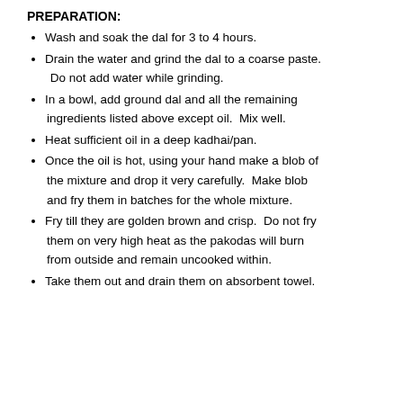PREPARATION:
Wash and soak the dal for 3 to 4 hours.
Drain the water and grind the dal to a coarse paste.  Do not add water while grinding.
In a bowl, add ground dal and all the remaining ingredients listed above except oil.  Mix well.
Heat sufficient oil in a deep kadhai/pan.
Once the oil is hot, using your hand make a blob of the mixture and drop it very carefully.  Make blob and fry them in batches for the whole mixture.
Fry till they are golden brown and crisp.  Do not fry them on very high heat as the pakodas will burn from outside and remain uncooked within.
Take them out and drain them on absorbent towel.